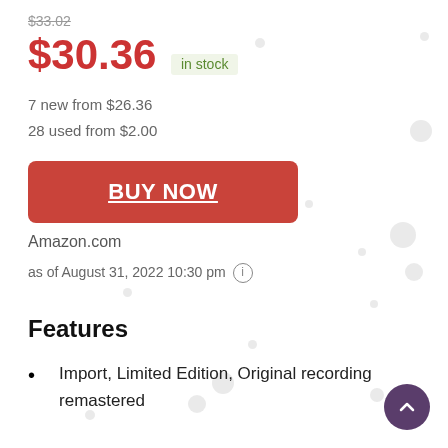$33.02 (strikethrough)
$30.36 in stock
7 new from $26.36
28 used from $2.00
BUY NOW
Amazon.com
as of August 31, 2022 10:30 pm (i)
Features
Import, Limited Edition, Original recording remastered